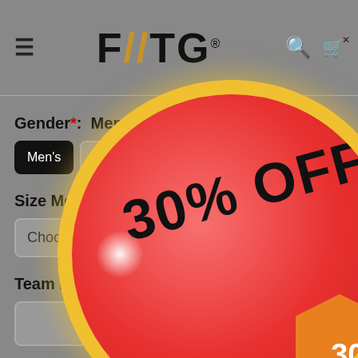FIIITG® [logo with navigation icons]
Gender*: Men's
Men's [selected]
Women's
Kid's
Preschool
Size Men's*:
Choose one
Team Name:
Front Num
[Figure (infographic): Circular promotional badge showing '30% OFF' text in bold black on a red/pink background with yellow border and a smaller orange hexagonal badge showing '30' in white.]